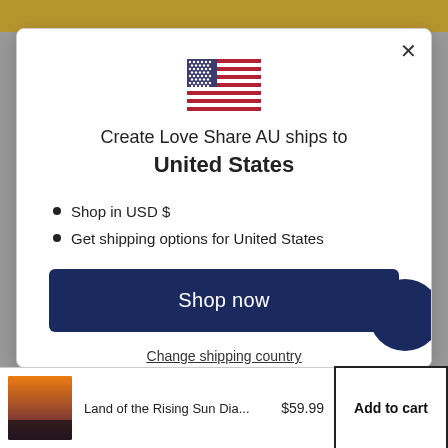[Figure (illustration): US flag emoji/icon centered in modal]
Create Love Share AU ships to United States
Shop in USD $
Get shipping options for United States
Shop now
Change shipping country
Land of the Rising Sun Dia...   $59.99   Add to cart